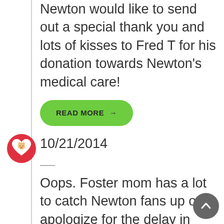Newton would like to send out a special thank you and lots of kisses to Fred T for his donation towards Newton's medical care!
READ MORE →
10/21/2014
Oops. Foster mom has a lot to catch Newton fans up on! I apologize for the delay in updates! Newton saw the wonderful Dr. R in mid September.